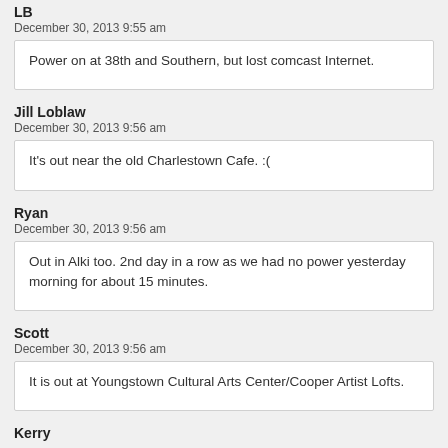LB
December 30, 2013 9:55 am
Power on at 38th and Southern, but lost comcast Internet.
Jill Loblaw
December 30, 2013 9:56 am
It's out near the old Charlestown Cafe. :(
Ryan
December 30, 2013 9:56 am
Out in Alki too. 2nd day in a row as we had no power yesterday morning for about 15 minutes.
Scott
December 30, 2013 9:56 am
It is out at Youngstown Cultural Arts Center/Cooper Artist Lofts.
Kerry